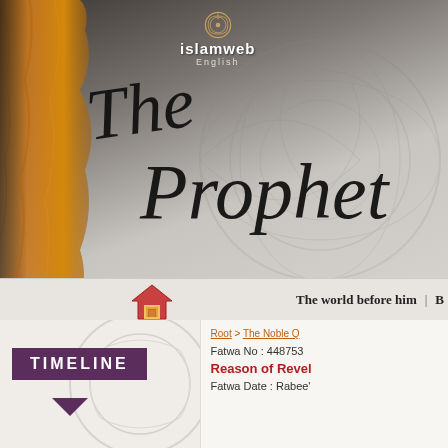[Figure (screenshot): Islamweb English website screenshot showing The Prophet page with orange drape, calligraphic title 'The Prophet', navigation bar with home icon and 'The world before him' text, Timeline section, and Fatwa information panel]
The Prophet
The world before him
Root > The Noble Q
Fatwa No : 448753
Reason of Revel
Fatwa Date : Rabee'
TIMELINE